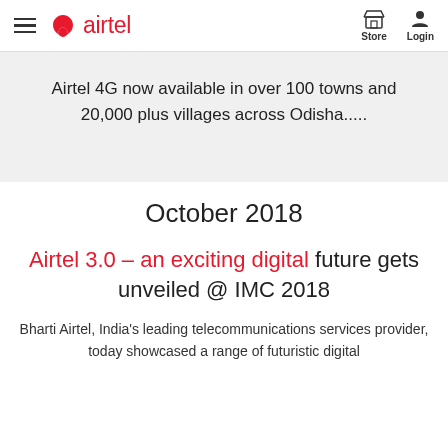airtel — Store Login
Airtel 4G now available in over 100 towns and 20,000 plus villages across Odisha.....
October 2018
Airtel 3.0 – an exciting digital future gets unveiled @ IMC 2018
Bharti Airtel, India's leading telecommunications services provider, today showcased a range of futuristic digital